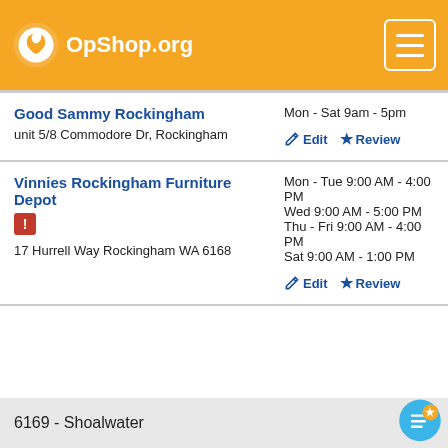OpShop.org
Good Sammy Rockingham
unit 5/8 Commodore Dr, Rockingham
Mon - Sat 9am - 5pm
Edit  Review
Vinnies Rockingham Furniture Depot
17 Hurrell Way Rockingham WA 6168
Mon - Tue 9:00 AM - 4:00 PM
Wed 9:00 AM - 5:00 PM
Thu - Fri 9:00 AM - 4:00 PM
Sat 9:00 AM - 1:00 PM
Edit  Review
6169 - Shoalwater